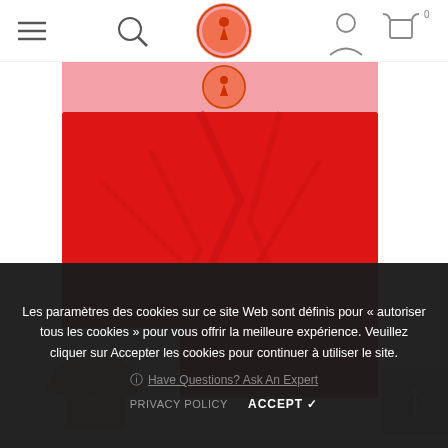[Figure (screenshot): E-commerce website screenshot showing a navigation bar with hamburger menu, search icon, brand logo (circular orange/red logo with figure), user account icon, and cart icon with '0'. Below is a product page showing a red/pink t-shirt laid flat — top portion is light pink background with circular logo, bottom portion is bright red fabric with wrinkles. A scroll-to-top button appears on the right. A pink t-shirt thumbnail is visible at the bottom left.]
Les paramètres des cookies sur ce site Web sont définis pour « autoriser tous les cookies » pour vous offrir la meilleure expérience. Veuillez cliquer sur Accepter les cookies pour continuer à utiliser le site.
Have Questions? Ask An Expert
PRIVACY POLICY
ACCEPT ✔